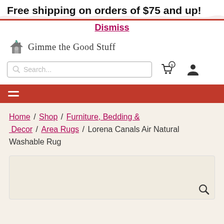Free shipping on orders of $75 and up!
Dismiss
[Figure (logo): Gimme the Good Stuff logo with house icon and serif text]
Search...
[Figure (infographic): Shopping cart icon with badge showing 1 item, and user account icon]
[Figure (infographic): Hamburger menu icon (three horizontal lines) on red navigation bar]
Home / Shop / Furniture, Bedding & Decor / Area Rugs / Lorena Canals Air Natural Washable Rug
[Figure (photo): Product image area with search/zoom icon in bottom right corner]